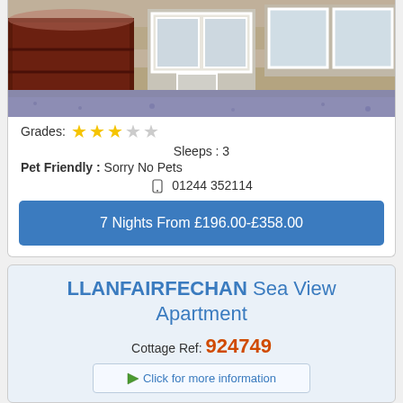[Figure (photo): Exterior photo of a stone cottage/property with a dark red garage door on the left, large white-framed windows, and a gravel driveway in front.]
Grades: ★★★☆☆
Sleeps : 3
Pet Friendly : Sorry No Pets
☎ 01244 352114
7 Nights From £196.00-£358.00
LLANFAIRFECHAN Sea View Apartment
Cottage Ref: 924749
Click for more information